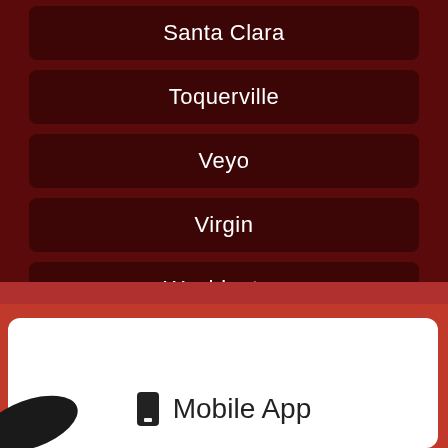Santa Clara
Toquerville
Veyo
Virgin
Washington
[Figure (screenshot): White card section with phone icon and Mobile App label at the bottom of the screen]
Mobile App